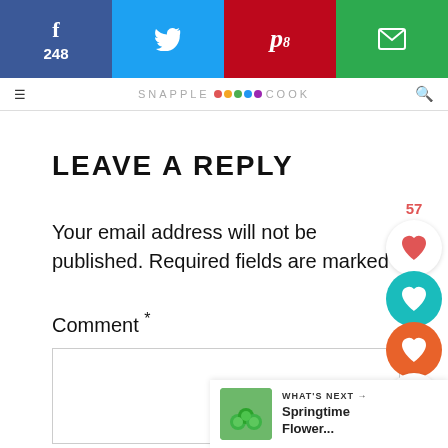[Figure (screenshot): Social share bar with Facebook (248), Twitter, Pinterest (8), and Email buttons]
SNAPPLE COOK
LEAVE A REPLY
Your email address will not be published. Required fields are marked
Comment *
[Figure (infographic): Floating social sidebar with heart icons showing 57 likes and 267 saves, plus share button]
[Figure (infographic): What's Next widget showing Springtime Flower... with thumbnail]